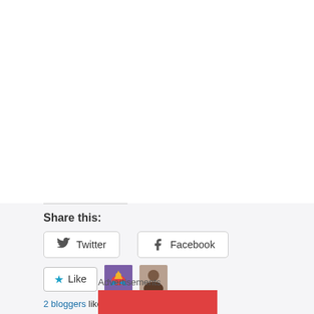Share this:
[Figure (other): Twitter share button with Twitter bird icon]
[Figure (other): Facebook share button with Facebook logo icon]
[Figure (other): Like button with star icon and two blogger avatars. Text: 2 bloggers like this.]
Privacy & Cookies: This site uses cookies. By continuing to use this website, you agree to their use. To find out more, including how to control cookies, see here: Cookie Policy
Close and accept
Advertisements